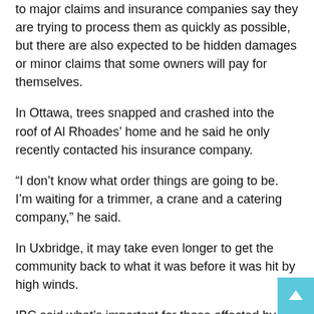to major claims and insurance companies say they are trying to process them as quickly as possible, but there are also expected to be hidden damages or minor claims that some owners will pay for themselves.
In Ottawa, trees snapped and crashed into the roof of Al Rhoades' home and he said he only recently contacted his insurance company.
“I don’t know what order things are going to be. I’m waiting for a trimmer, a crane and a catering company,” he said.
In Uxbridge, it may take even longer to get the community back to what it was before it was hit by high winds.
IBC said what’s important for those affected by the storm is knowing that wind damage is covered by most policies.
“Wind damage is covered by the typical home insurance policy and we know it was a tornado that touched down in Uxbridge that would fall under the peril of the wind,” Thomas said.